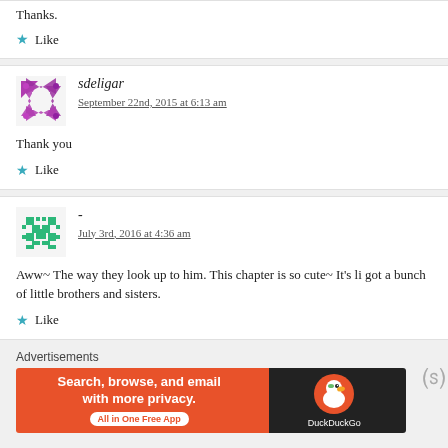Thanks.
Like
sdeligar
September 22nd, 2015 at 6:13 am
Thank you
Like
-
July 3rd, 2016 at 4:36 am
Aww~ The way they look up to him. This chapter is so cute~ It's li got a bunch of little brothers and sisters.
Like
Advertisements
[Figure (other): DuckDuckGo advertisement banner - Search, browse, and email with more privacy. All in One Free App]